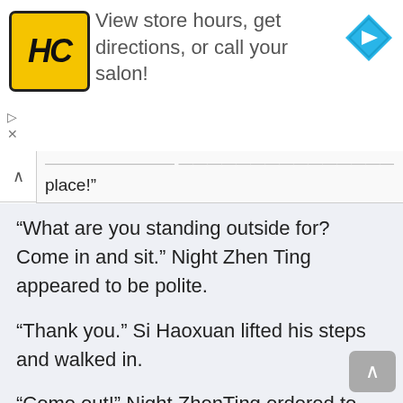[Figure (logo): Hair Club (HC) yellow logo with black border and italic HC letters]
View store hours, get directions, or call your salon!
[Figure (other): Blue diamond navigation arrow icon pointing right]
...ched you, I apologize in his place!"
“What are you standing outside for? Come in and sit.” Night Zhen Ting appeared to be polite.
“Thank you.” Si Haoxuan lifted his steps and walked in.
“Come out!” Night ZhenTing ordered to the bathroom.